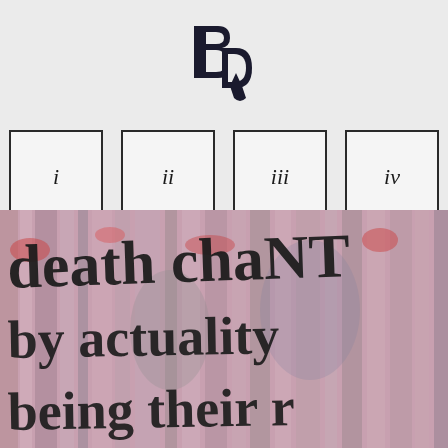[Figure (logo): Stylized monogram logo combining B, D, and y letterforms in dark navy/black]
[Figure (infographic): Four numbered navigation boxes labeled i, ii, iii, iv with black borders on light gray background]
[Figure (photo): Photograph of graffiti text on a pink/purple painted wooden surface reading 'death chant by actuality being their r' in black handwritten letters]